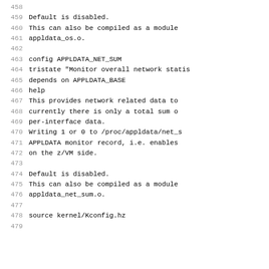458-479 source code lines showing kernel Kconfig entries for APPLDATA_NET_SUM configuration block
459: Default is disabled.
460: This can also be compiled as a module
461: appldata_os.o.
462:
463: config APPLDATA_NET_SUM
464:   tristate "Monitor overall network statis
465:   depends on APPLDATA_BASE
466:   help
467:     This provides network related data to
468:     currently there is only a total sum o
469:     per-interface data.
470:     Writing 1 or 0 to /proc/appldata/net_s
471:     APPLDATA monitor record, i.e. enables
472:     on the z/VM side.
473:
474:     Default is disabled.
475:     This can also be compiled as a module
476:     appldata_net_sum.o.
477:
478: source kernel/Kconfig.hz
479: